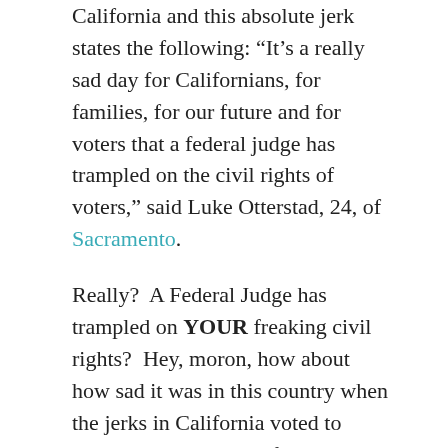California and this absolute jerk states the following: “It’s a really sad day for Californians, for families, for our future and for voters that a federal judge has trampled on the civil rights of voters,” said Luke Otterstad, 24, of Sacramento.
Really?  A Federal Judge has trampled on YOUR freaking civil rights?  Hey, moron, how about how sad it was in this country when the jerks in California voted to trample on the rights of tax paying, American Citizens by stopping gay marriages?
What about the trampling on my rights when Wisconsin voted for the anti-gay amendment to my STATE’S constituion?  Did you ever stop to think about the rights of others?
No, you don’t.  You and the others like you are mindless